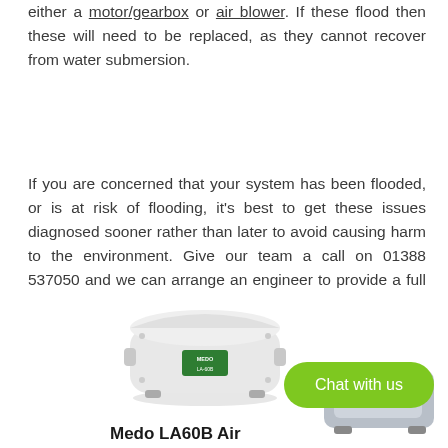either a motor/gearbox or air blower. If these flood then these will need to be replaced, as they cannot recover from water submersion.
If you are concerned that your system has been flooded, or is at risk of flooding, it's best to get these issues diagnosed sooner rather than later to avoid causing harm to the environment. Give our team a call on 01388 537050 and we can arrange an engineer to provide a full inspection of your system.
[Figure (photo): Photo of a Medo LA60B Air Pump/Blower unit — a white and grey rectangular air blower device with small feet]
Medo LA60B Air
[Figure (photo): Photo of another septic/treatment system component (grey device), partially visible at the right side]
Chat with us